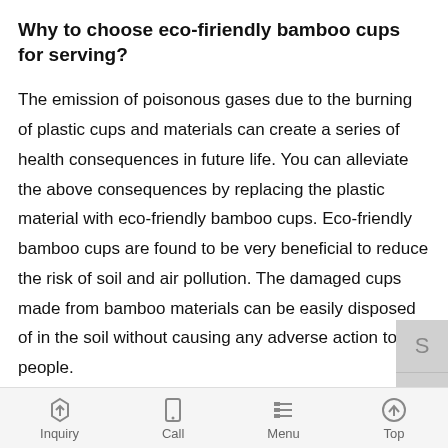Why to choose eco-firiendly bamboo cups for serving?
The emission of poisonous gases due to the burning of plastic cups and materials can create a series of health consequences in future life. You can alleviate the above consequences by replacing the plastic material with eco-friendly bamboo cups. Eco-friendly bamboo cups are found to be very beneficial to reduce the risk of soil and air pollution. The damaged cups made from bamboo materials can be easily disposed of in the soil without causing any adverse action to the people.
At present, there are several companies available all over the world to promote the production of eco-friendly products. To obtain the best result, make sure that the selected company is reliable to provide 100% natural products to their registered customers. The quality of the product is one of the main factors checked by
Inquiry  Call  Menu  Top